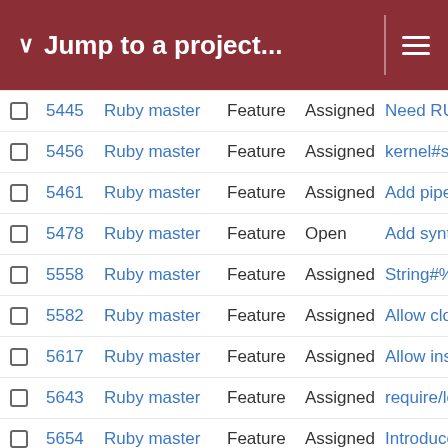Jump to a project...
|  | # | Project | Tracker | Status | Subject |
| --- | --- | --- | --- | --- | --- |
|  | 5445 | Ruby master | Feature | Assigned | Need RUBYOPT - |
|  | 5456 | Ruby master | Feature | Assigned | kernel#syscall() sh |
|  | 5461 | Ruby master | Feature | Assigned | Add pipelining to N |
|  | 5478 | Ruby master | Feature | Open | Add syntax to imp |
|  | 5558 | Ruby master | Feature | Assigned | String#% strange |
|  | 5582 | Ruby master | Feature | Assigned | Allow clone of singl |
|  | 5617 | Ruby master | Feature | Assigned | Allow install Ruby( |
|  | 5643 | Ruby master | Feature | Assigned | require/load option |
|  | 5654 | Ruby master | Feature | Assigned | Introduce global lo |
|  | 5741 | Ruby master | Feature | Assigned | Secure Erasure of |
|  | 5749 | Ruby master | Feature | Assigned | new method String |